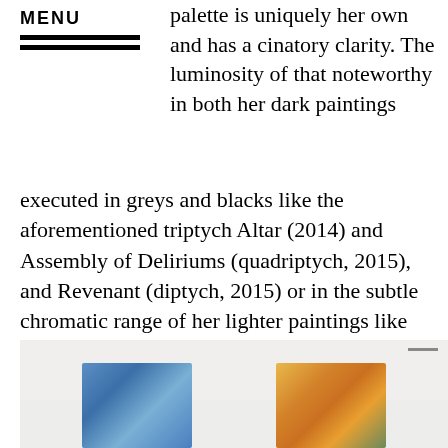MENU
palette is uniquely her own and has a cinatory clarity. The luminosity of that noteworthy in both her dark paintings executed in greys and blacks like the aforementioned triptych Altar (2014) and Assembly of Deliriums (quadriptych, 2015), and Revenant (diptych, 2015) or in the subtle chromatic range of her lighter paintings like Beneath the Spin Light (2016) and the haunting yellows that seem to radiate above and beneath the surface in L.A. Flex (2015).
[Figure (photo): Gallery installation photo showing two paintings hung on a white wall, partially visible at the bottom of the page. Left painting appears blue/cool toned, right painting appears yellow/warm toned.]